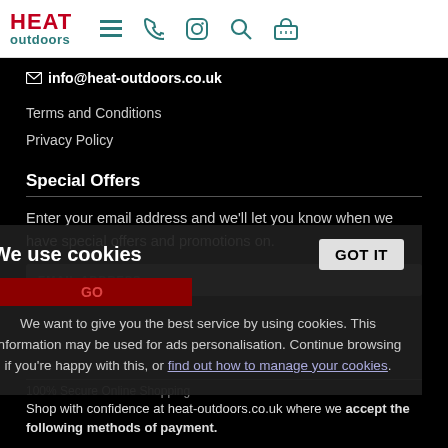HEAT outdoors — navigation header with menu, phone, instagram, search, basket icons
✉ info@heat-outdoors.co.uk
Terms and Conditions
Privacy Policy
Special Offers
Enter your email address and we'll let you know when we have special offers and promotions on.
EMAIL ADDRESS (input field) GO (button)
We use cookies — GOT IT button
We want to give you the best service by using cookies. This information may be used for ads personalisation. Continue browsing if you're happy with this, or find out how to manage your cookies.
100% Secure Online Shopping
Shop with confidence at heat-outdoors.co.uk where we accept the following methods of payment.